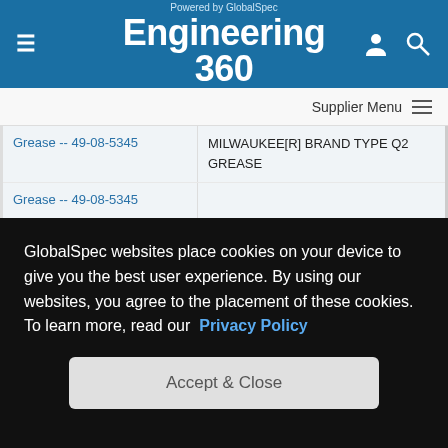Powered by GlobalSpec Engineering 360
Supplier Menu
| Product | Description |
| --- | --- |
| Grease -- 49-08-5345 | MILWAUKEE[R] BRAND TYPE Q2 GREASE |
| Grease -- 49-08-5345 | MILWAUKEE[R] BRAND TYPE Q2 GREASE |
| Grease -- 49-08-5350 | SODIUM TYPE HAZY TO AMBER COLOR INDUSTRIAL, CONSTRUCTION APPLICATION TUBE CONTAINER TYPE 100 GRAM CONTAINER |
| Grease -- 49-08-5350 |  |
GlobalSpec websites place cookies on your device to give you the best user experience. By using our websites, you agree to the placement of these cookies. To learn more, read our Privacy Policy
Accept & Close